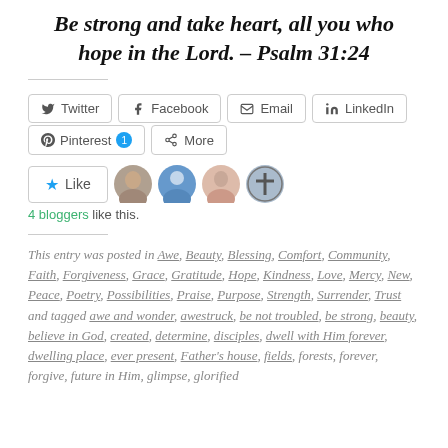Be strong and take heart, all you who hope in the Lord. – Psalm 31:24
[Figure (other): Social share buttons: Twitter, Facebook, Email, LinkedIn, Pinterest (1), More]
[Figure (other): Like button with star icon and 4 blogger avatars]
4 bloggers like this.
This entry was posted in Awe, Beauty, Blessing, Comfort, Community, Faith, Forgiveness, Grace, Gratitude, Hope, Kindness, Love, Mercy, New, Peace, Poetry, Possibilities, Praise, Purpose, Strength, Surrender, Trust and tagged awe and wonder, awestruck, be not troubled, be strong, beauty, believe in God, created, determine, disciples, dwell with Him forever, dwelling place, ever present, Father's house, fields, forests, forever, forgive, future in Him, glimpse, glorified